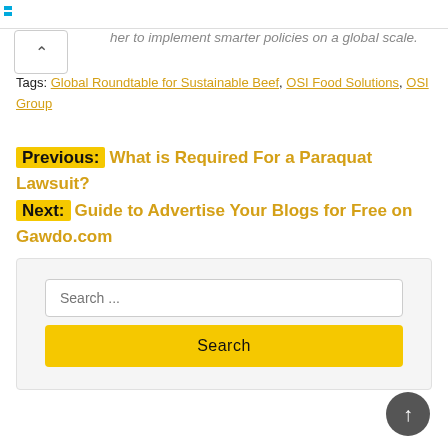…her to implement smarter policies on a global scale.
Tags: Global Roundtable for Sustainable Beef, OSI Food Solutions, OSI Group
Previous: What is Required For a Paraquat Lawsuit?
Next: Guide to Advertise Your Blogs for Free on Gawdo.com
Search ...
Search